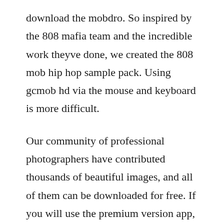download the mobdro. So inspired by the 808 mafia team and the incredible work theyve done, we created the 808 mob hip hop sample pack. Using gcmob hd via the mouse and keyboard is more difficult.
Our community of professional photographers have contributed thousands of beautiful images, and all of them can be downloaded for free. If you will use the premium version app, you dont fill disturb because of this paid version adfree. Free download gcmob hd for pc, windows 7,8,10 and mac this is the new